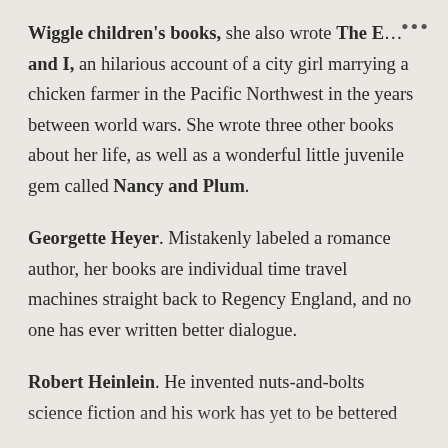Wiggle children's books, she also wrote The E… and I, an hilarious account of a city girl marrying a chicken farmer in the Pacific Northwest in the years between world wars. She wrote three other books about her life, as well as a wonderful little juvenile gem called Nancy and Plum.
Georgette Heyer. Mistakenly labeled a romance author, her books are individual time travel machines straight back to Regency England, and no one has ever written better dialogue.
Robert Heinlein. He invented nuts-and-bolts science fiction and his work has yet to be bettered